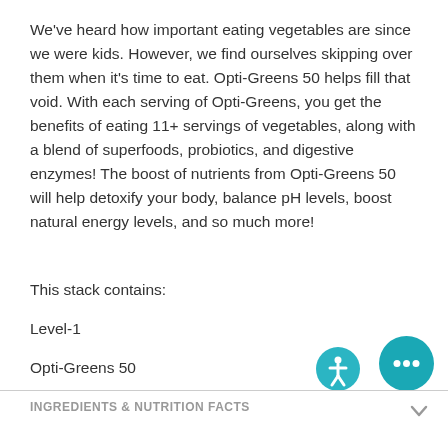We've heard how important eating vegetables are since we were kids. However, we find ourselves skipping over them when it's time to eat. Opti-Greens 50 helps fill that void. With each serving of Opti-Greens, you get the benefits of eating 11+ servings of vegetables, along with a blend of superfoods, probiotics, and digestive enzymes! The boost of nutrients from Opti-Greens 50 will help detoxify your body, balance pH levels, boost natural energy levels, and so much more!
This stack contains:
Level-1
Opti-Greens 50
INGREDIENTS & NUTRITION FACTS